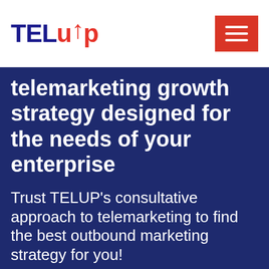TELUP
telemarketing growth strategy designed for the needs of your enterprise
Trust TELUP's consultative approach to telemarketing to find the best outbound marketing strategy for you!